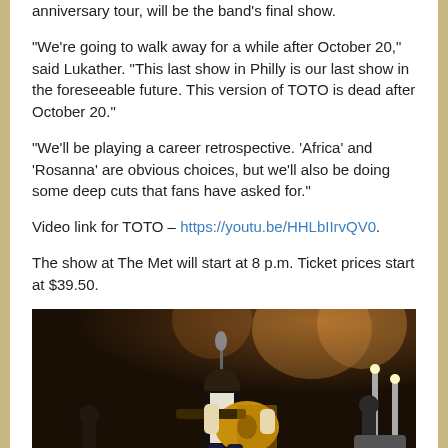anniversary tour, will be the band's final show.
“We’re going to walk away for a while after October 20,” said Lukather. “This last show in Philly is our last show in the foreseeable future. This version of TOTO is dead after October 20.”
“We’ll be playing a career retrospective. ‘Africa’ and ‘Rosanna’ are obvious choices, but we’ll also be doing some deep cuts that fans have asked for.”
Video link for TOTO – https://youtu.be/HHLbIIrvQV0.
The show at The Met will start at 8 p.m. Ticket prices start at $39.50.
[Figure (photo): A musician playing an acoustic guitar on stage under dramatic warm stage lighting, seated, wearing a dark vest and white shirt with tie. Other performers visible in background.]